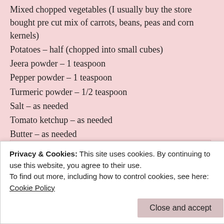Mixed chopped vegetables (I usually buy the store bought pre cut mix of carrots, beans, peas and corn kernels)
Potatoes – half (chopped into small cubes)
Jeera powder – 1 teaspoon
Pepper powder – 1 teaspoon
Turmeric powder – 1/2 teaspoon
Salt – as needed
Tomato ketchup – as needed
Butter – as needed
[Figure (photo): Broken image placeholder labeled 'veg-sandwich']
Privacy & Cookies: This site uses cookies. By continuing to use this website, you agree to their use. To find out more, including how to control cookies, see here: Cookie Policy